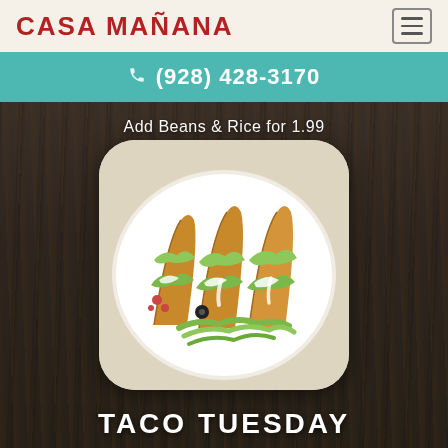CASA MAÑANA
(928) 428-3170
Add Beans & Rice for 1.99
[Figure (photo): Photo of three hard-shell tacos on a white plate, topped with shredded lettuce, sour cream, and garnished with diced tomatoes, on a dark wood background]
TACO TUESDAY